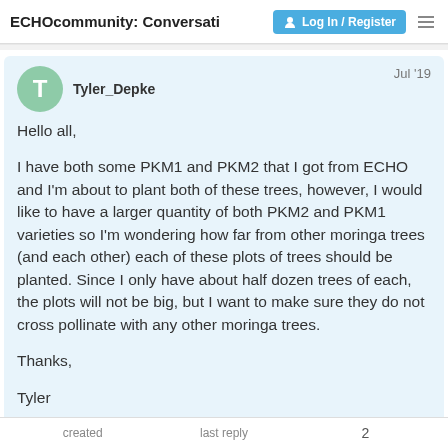ECHOcommunity: Conversati  Log In / Register
Hello all,

I have both some PKM1 and PKM2 that I got from ECHO and I'm about to plant both of these trees, however, I would like to have a larger quantity of both PKM2 and PKM1 varieties so I'm wondering how far from other moringa trees (and each other) each of these plots of trees should be planted. Since I only have about half dozen trees of each, the plots will not be big, but I want to make sure they do not cross pollinate with any other moringa trees.

Thanks,

Tyler
created   last reply   2